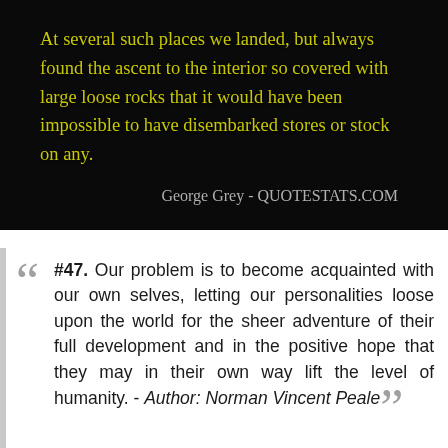[Figure (photo): Dark black background image with yellow/gold cursive text showing a quote by George Grey, with attribution line at bottom right reading 'George Grey - QUOTESTATS.COM']
#47. Our problem is to become acquainted with our own selves, letting our personalities loose upon the world for the sheer adventure of their full development and in the positive hope that they may in their own way lift the level of humanity. - Author: Norman Vincent Peale